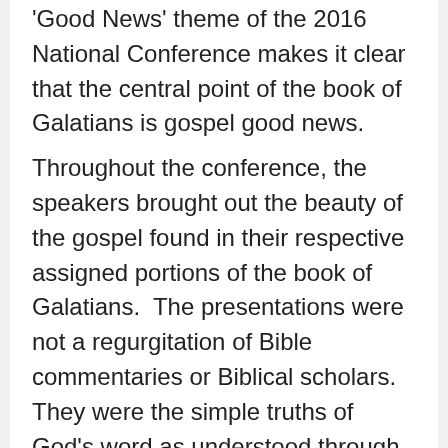'Good News' theme of the 2016 National Conference makes it clear that the cen-tral point of the book of Galatians is gospel good news.
Throughout the conference, the speakers brought out the beauty of the gospel found in their respective as-signed portions of the book of Galatians.  The presenta-tions were not a regurgitation of Bible commentaries or Biblical scholars.  They were the simple truths of God's word as understood through the individual study of each presenter.  It was inspirational to see lay people study-ing the book of Galatians for themselves, and then shar-ing the truths that the Holy Spirit had illuminated during their own study.  Everyone can study and understand the Bible, and share it with others in a clear and heart-warm-ing manner.